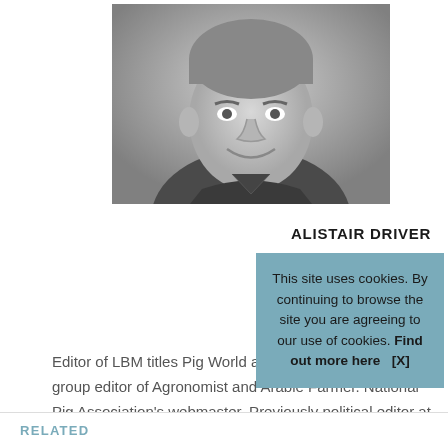[Figure (photo): Black and white headshot photo of Alistair Driver, a man smiling at the camera]
ALISTAIR DRIVER
Editor of LBM titles Pig World and Farm Business and group editor of Agronomist and Arable Farmer. National Pig Association's webmaster. Previously political editor at Farmers Guardian for many years and also worked Farmers Weekly. Occasional farming media pundit. Brought up on a Leicestershire farm, now work from a shed in the garden in Oxfordshire. Big fan of Leicester City and
This site uses cookies. By continuing to browse the site you are agreeing to our use of cookies. Find out more here    [X]
RELATED